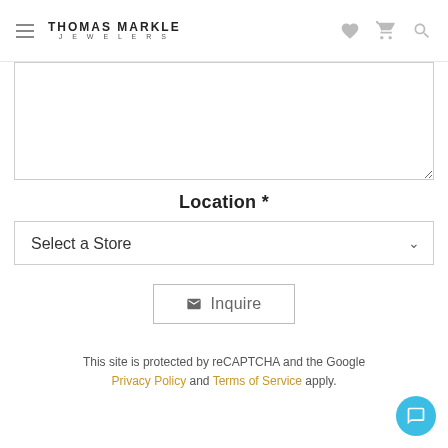THOMAS MARKLE JEWELERS
[Figure (screenshot): Textarea input field (empty)]
Location *
[Figure (screenshot): Select a Store dropdown]
[Figure (screenshot): Inquire button with envelope icon]
This site is protected by reCAPTCHA and the Google Privacy Policy and Terms of Service apply.
[Figure (screenshot): Blue chat bubble button in bottom-right corner]